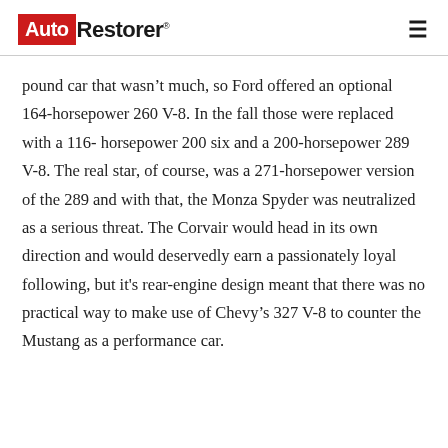Auto Restorer
pound car that wasn’t much, so Ford offered an optional 164-horsepower 260 V-8. In the fall those were replaced with a 116- horsepower 200 six and a 200-horsepower 289 V-8. The real star, of course, was a 271-horsepower version of the 289 and with that, the Monza Spyder was neutralized as a serious threat. The Corvair would head in its own direction and would deservedly earn a passionately loyal following, but it’s rear-engine design meant that there was no practical way to make use of Chevy’s 327 V-8 to counter the Mustang as a performance car.